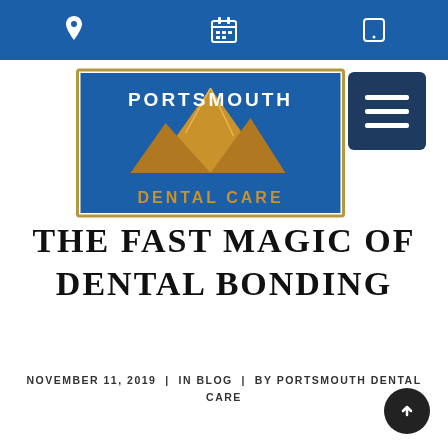Navigation bar with location, calendar, and phone icons on blue background
[Figure (logo): Portsmouth Dental Care logo: blue and gold mountain graphic with text PORTSMOUTH DENTAL CARE]
THE FAST MAGIC OF DENTAL BONDING
NOVEMBER 11, 2019  |  IN BLOG  |  BY PORTSMOUTH DENTAL CARE